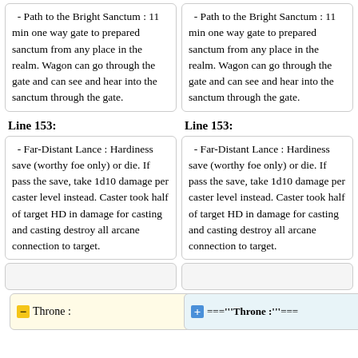- Path to the Bright Sanctum : 11 min one way gate to prepared sanctum from any place in the realm. Wagon can go through the gate and can see and hear into the sanctum through the gate.
- Path to the Bright Sanctum : 11 min one way gate to prepared sanctum from any place in the realm. Wagon can go through the gate and can see and hear into the sanctum through the gate.
Line 153:
Line 153:
- Far-Distant Lance : Hardiness save (worthy foe only) or die. If pass the save, take 1d10 damage per caster level instead. Caster took half of target HD in damage for casting and casting destroy all arcane connection to target.
- Far-Distant Lance : Hardiness save (worthy foe only) or die. If pass the save, take 1d10 damage per caster level instead. Caster took half of target HD in damage for casting and casting destroy all arcane connection to target.
Throne :
==="""Throne :"""===